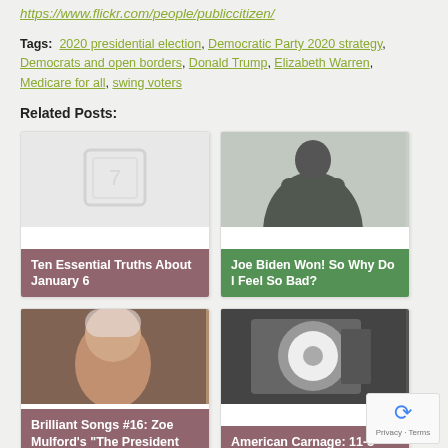https://www.flickr.com/people/publiccitizen/
Tags:  2020 presidential election, Democratic Party 2020 strategy, Democrats and open borders, Donald Trump, Elizabeth Warren, Medicare for all, swing voters
Related Posts:
[Figure (photo): Card: Ten Essential Truths About January 6 - placeholder image with tablet/document icon, mauve overlay]
[Figure (photo): Card: Joe Biden Won! So Why Do I Feel So Bad? - greyscale photo of person seen from behind in fog, green overlay]
[Figure (photo): Card: Brilliant Songs #16: Zoe Mulford's 'The President Sang...' - photo of older woman with white hair, mauve overlay]
[Figure (photo): Card: American Carnage: 11-3-2020 - black and white photo of round medical/industrial machine, mauve overlay]